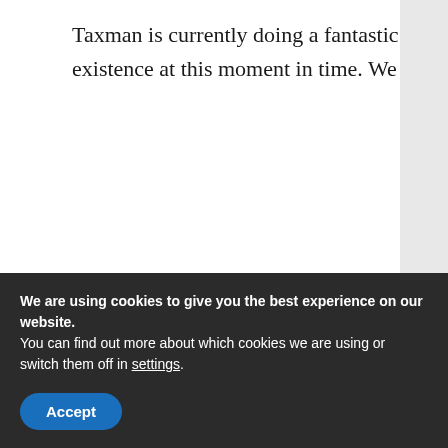Taxman is currently doing a fantastic job on Retro Sonic, possibly the finest 2D Fan Game in existence at this moment in time. We spoke to him at SAGE 2002. Continue reading →
READ MORE....
CHRISTIAN WHITEHEAD
COMMUNITY INTERVIEWS
FAN GAMES
INTERVIEWS
RETRO SONIC
SAGE
SAGE 2002
SAGE 4
SONIC AMATEUR GAMES EXPO
We are using cookies to give you the best experience on our website.
You can find out more about which cookies we are using or switch them off in settings.